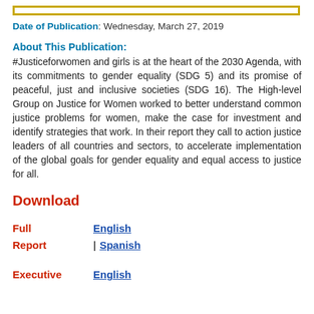Date of Publication: Wednesday, March 27, 2019
About This Publication:
#Justiceforwomen and girls is at the heart of the 2030 Agenda, with its commitments to gender equality (SDG 5) and its promise of peaceful, just and inclusive societies (SDG 16). The High-level Group on Justice for Women worked to better understand common justice problems for women, make the case for investment and identify strategies that work. In their report they call to action justice leaders of all countries and sectors, to accelerate implementation of the global goals for gender equality and equal access to justice for all.
Download
Full Report | English | Spanish
Executive | English